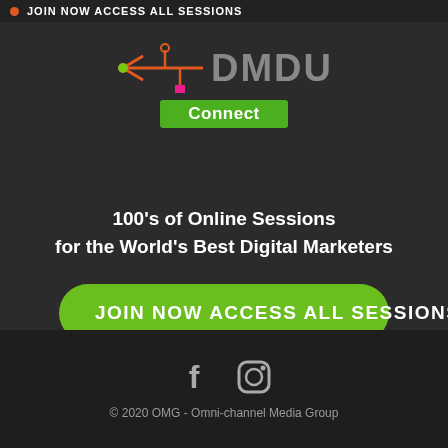JOIN NOW ACCESS ALL SESSIONS
[Figure (logo): DMDU Connect logo with USB-style arrow icon and green Connect badge]
100's of Online Sessions for the World's Best Digital Marketers
JOIN NOW ACCESS ALL SESSIONS
[Figure (illustration): Facebook and Instagram social media icons]
© 2020 OMG - Omni-channel Media Group